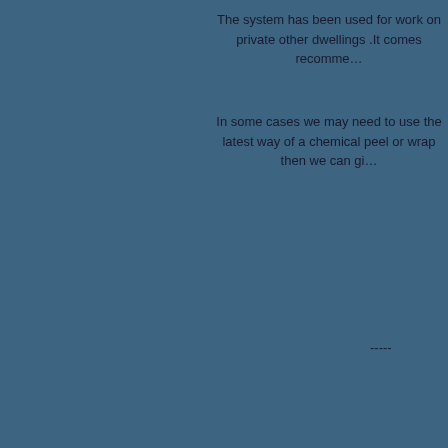The system has been used for work on private other dwellings .It comes recomme...
In some cases we may need to use the latest way of a chemical peel or wrap then we can gi...
----